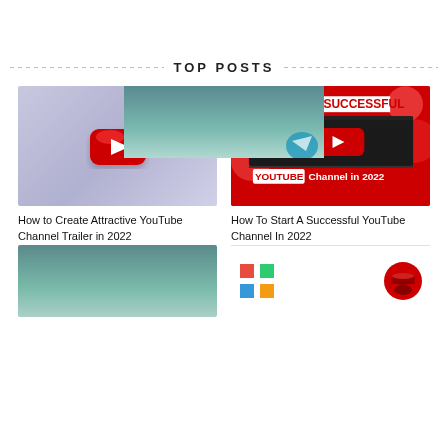TOP POSTS
[Figure (photo): 3D YouTube logo icon on light purple/blue background - red rounded rectangle with white play triangle]
How to Create Attractive YouTube Channel Trailer in 2022
[Figure (photo): YouTube channel thumbnail on red background with text 'Start a SUCCESSFUL YOUTUBE Channel in 2022' and video player mockup]
How To Start A Successful YouTube Channel In 2022
[Figure (photo): Teal/blue-green gradient background image, partially visible, with a bird logo]
[Figure (photo): Two logos: colorful Windows-style grid logo on left, Red Hat logo on right]